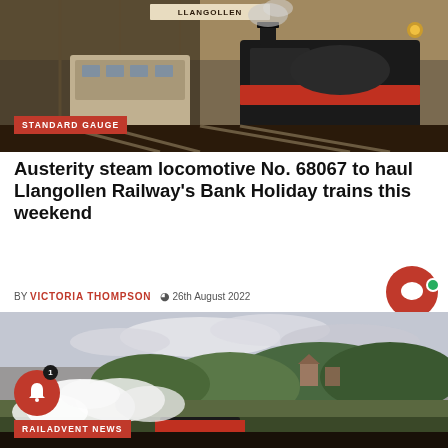[Figure (photo): Llangollen station with vintage railway carriages and steam locomotive on tracks, station sign visible overhead]
STANDARD GAUGE
Austerity steam locomotive No. 68067 to haul Llangollen Railway's Bank Holiday trains this weekend
BY VICTORIA THOMPSON  © 26th August 2022
[Figure (photo): Steam locomotive producing large white steam clouds in a scenic countryside setting with green hills and overcast sky]
RAILADVENT NEWS